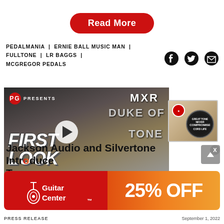Read More
PEDALMANIA | ERNIE BALL MUSIC MAN | FULLTONE | LR BAGGS | MCGREGOR PEDALS
[Figure (screenshot): Video thumbnail showing a guitarist with 'PG Presents', 'MXR Duke of Tone', and 'First Look' overlaid text, with a circular play button in the center]
[Figure (photo): Small side advertisement image with a circular badge]
Jackson Audio and Silvertone Intr... Twe...
[Figure (infographic): Guitar Center advertisement banner showing '25% OFF' on an orange/red gradient with Guitar Center logo on red background]
PRESS RELEASE
September 1, 2022